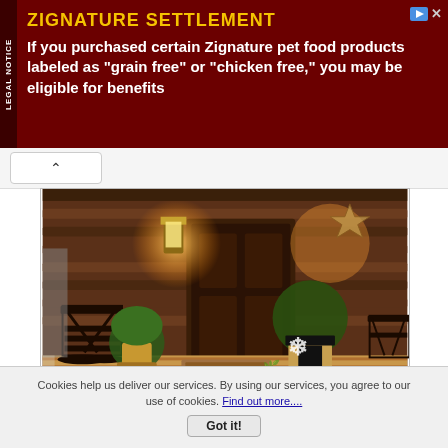[Figure (infographic): Advertisement banner for Zignature Settlement legal notice. Dark red background with yellow title text 'ZIGNATURE SETTLEMENT' and white body text about pet food products labeled grain free or chicken free.]
[Figure (photo): Photo of a log cabin front porch decorated for Christmas/winter with rocking chairs, potted evergreen plants, a welcome mat, and decorative snowflake lights. Warm lighting from wall lanterns. Photo credit: Courtesy of Joanna McCain for Front-Porch-Ideas-and-More.com]
Such an iconic log cabin porch
Cookies help us deliver our services. By using our services, you agree to our use of cookies. Find out more....